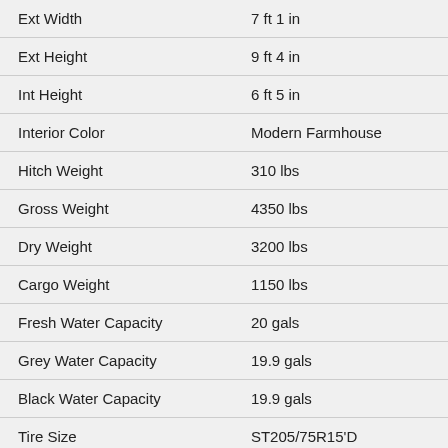| Specification | Value |
| --- | --- |
| Ext Width | 7 ft 1 in |
| Ext Height | 9 ft 4 in |
| Int Height | 6 ft 5 in |
| Interior Color | Modern Farmhouse |
| Hitch Weight | 310 lbs |
| Gross Weight | 4350 lbs |
| Dry Weight | 3200 lbs |
| Cargo Weight | 1150 lbs |
| Fresh Water Capacity | 20 gals |
| Grey Water Capacity | 19.9 gals |
| Black Water Capacity | 19.9 gals |
| Tire Size | ST205/75R15'D |
| Furnace BTU | 18000 btu |
| Available Beds | RV Queen |